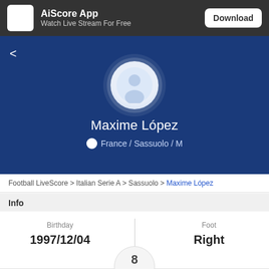[Figure (screenshot): AiScore app banner with logo, app name, subtitle and download button]
[Figure (photo): Player profile section with avatar, name Maxime López, and meta info France / Sassuolo / M on blue background]
Football LiveScore > Italian Serie A > Sassuolo > Maxime López
Info
Birthday
1997/12/04
Foot
Right
8